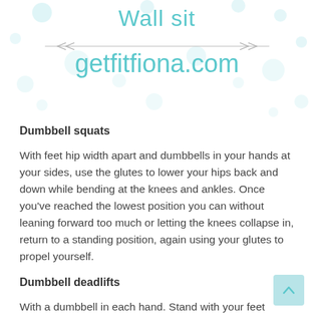Wall sit
getfitfiona.com
Dumbbell squats
With feet hip width apart and dumbbells in your hands at your sides, use the glutes to lower your hips back and down while bending at the knees and ankles. Once you've reached the lowest position you can without leaning forward too much or letting the knees collapse in, return to a standing position, again using your glutes to propel yourself.
Dumbbell deadlifts
With a dumbbell in each hand. Stand with your feet shoulder width apart. Slowly bend forward at the hips,